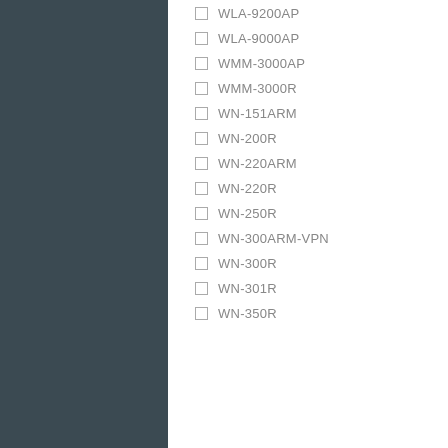WLA-9200AP
WLA-9000AP
WMM-3000AP
WMM-3000R
WN-151ARM
WN-200R
WN-220ARM
WN-220R
WN-250R
WN-300ARM-VPN
WN-300R
WN-301R
WN-350R